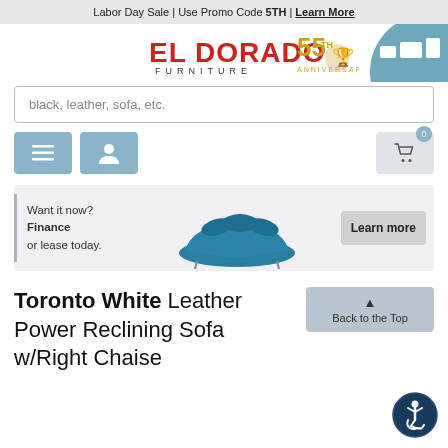Labor Day Sale | Use Promo Code 5TH | Learn More
[Figure (logo): El Dorado Furniture 55th Anniversary logo]
[Figure (illustration): Style it badge - circular teal badge with furniture icons and 'style it' text]
black, leather, sofa, etc.
[Figure (illustration): Navigation icons: hamburger menu, user icon, and cart icon with badge showing 0]
[Figure (infographic): Finance banner: Want it now? Finance or lease today. Blue curved sofa image. Learn more button.]
Toronto White Leather Power Reclining Sofa w/Right Chaise
[Figure (illustration): Back to the Top button]
[Figure (illustration): Accessibility icon - circular navy button with wheelchair symbol]